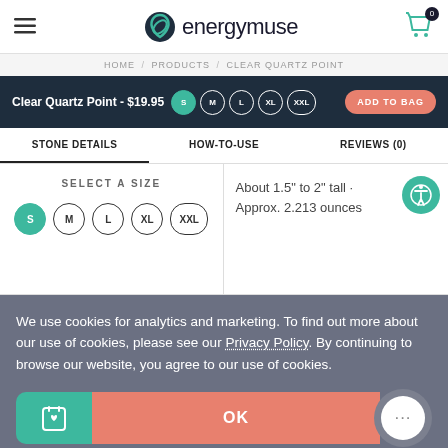energy muse
HOME / PRODUCTS / CLEAR QUARTZ POINT
Clear Quartz Point - $19.95
STONE DETAILS | HOW-TO-USE | REVIEWS (0)
SELECT A SIZE
About 1.5" to 2" tall · Approx. 2.213 ounces
We use cookies for analytics and marketing. To find out more about our use of cookies, please see our Privacy Policy. By continuing to browse our website, you agree to our use of cookies.
OK